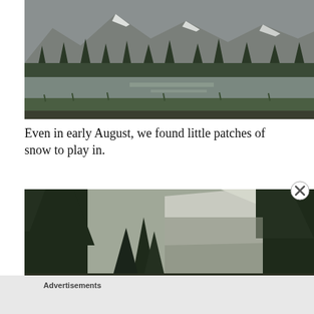[Figure (photo): Mountain lake scene with calm reflective water, grassy shoreline in foreground, evergreen forest and rocky mountain peaks with snow patches in background. Overcast sky.]
Even in early August, we found little patches of snow to play in.
[Figure (photo): Dense evergreen forest with tall dark conifer trees in foreground, rocky mountain slope with snow or light-colored rock visible through trees in background.]
Advertisements